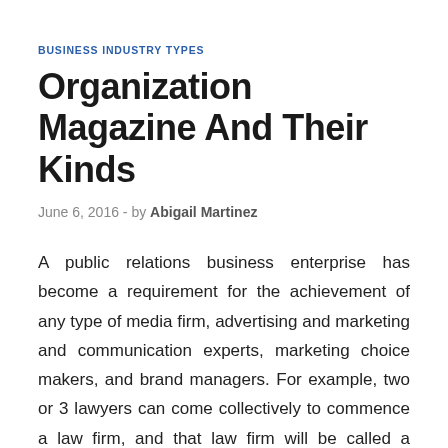BUSINESS INDUSTRY TYPES
Organization Magazine And Their Kinds
June 6, 2016  -  by Abigail Martinez
A public relations business enterprise has become a requirement for the achievement of any type of media firm, advertising and marketing and communication experts, marketing choice makers, and brand managers. For example, two or 3 lawyers can come collectively to commence a law firm, and that law firm will be called a partnership merely